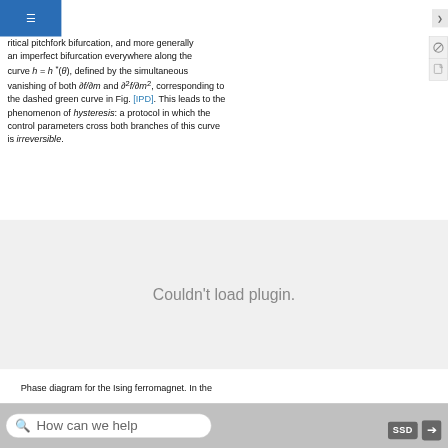ritical pitchfork bifurcation, and more generally an imperfect bifurcation everywhere along the curve h = h*(θ), defined by the simultaneous vanishing of both ∂f/∂m and ∂²f/∂m², corresponding to the dashed green curve in Fig. [IPD]. This leads to the phenomenon of hysteresis: a protocol in which the control parameters cross both branches of this curve is irreversible.
[Figure (other): Couldn't load plugin. Plugin placeholder area.]
Phase diagram for the Ising ferromagnet. In the